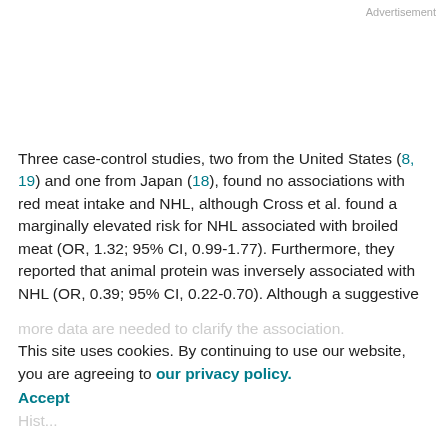Advertisement
Three case-control studies, two from the United States (8, 19) and one from Japan (18), found no associations with red meat intake and NHL, although Cross et al. found a marginally elevated risk for NHL associated with broiled meat (OR, 1.32; 95% CI, 0.99-1.77). Furthermore, they reported that animal protein was inversely associated with NHL (OR, 0.39; 95% CI, 0.22-0.70). Although a suggestive link exists between meat consumption and risk of NHL, more data are needed to clarify the association. Hist...
This site uses cookies. By continuing to use our website, you are agreeing to our privacy policy. Accept